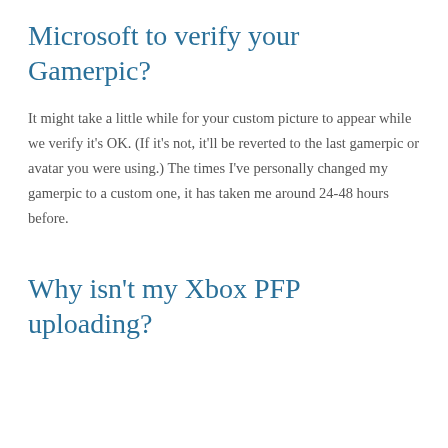Microsoft to verify your Gamerpic?
It might take a little while for your custom picture to appear while we verify it's OK. (If it's not, it'll be reverted to the last gamerpic or avatar you were using.) The times I've personally changed my gamerpic to a custom one, it has taken me around 24-48 hours before.
Why isn't my Xbox PFP uploading?